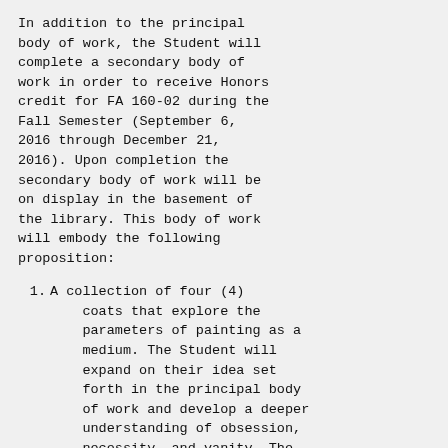In addition to the principal body of work, the Student will complete a secondary body of work in order to receive Honors credit for FA 160-02 during the Fall Semester (September 6, 2016 through December 21, 2016). Upon completion the secondary body of work will be on display in the basement of the library. This body of work will embody the following proposition:
A collection of four (4) coats that explore the parameters of painting as a medium. The Student will expand on their idea set forth in the principal body of work and develop a deeper understanding of obsession, necessity, and vanity. The Student will craft the coats